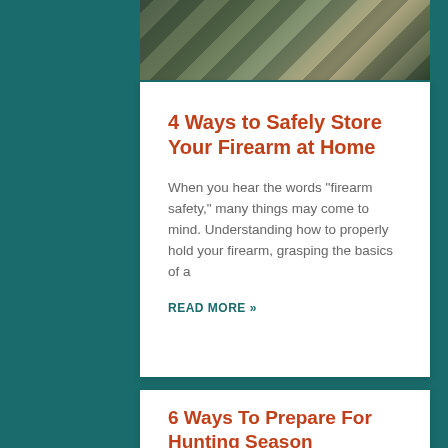[Figure (photo): Partial photo of camping/outdoor gear including tent fabric in olive green and tan colors, visible at top of card]
4 Ways to Safely Store Your Firearm at Home
When you hear the words “firearm safety,” many things may come to mind. Understanding how to properly hold your firearm, grasping the basics of a
READ MORE »
6 Ways To Prepare For Hunting Season